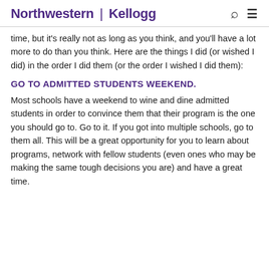Northwestern | Kellogg
time, but it's really not as long as you think, and you'll have a lot more to do than you think. Here are the things I did (or wished I did) in the order I did them (or the order I wished I did them):
GO TO ADMITTED STUDENTS WEEKEND.
Most schools have a weekend to wine and dine admitted students in order to convince them that their program is the one you should go to. Go to it. If you got into multiple schools, go to them all. This will be a great opportunity for you to learn about programs, network with fellow students (even ones who may be making the same tough decisions you are) and have a great time.